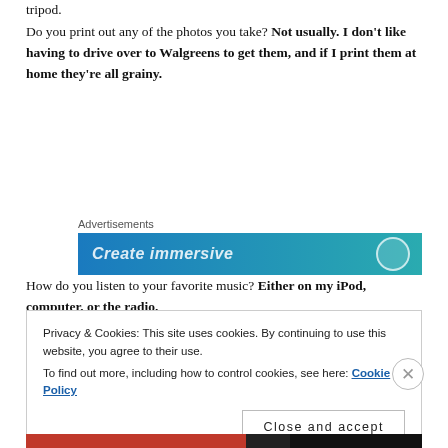tripod.
Do you print out any of the photos you take? Not usually. I don't like having to drive over to Walgreens to get them, and if I print them at home they're all grainy.
[Figure (other): Advertisement banner with text 'Create immersive' on a blue-teal gradient background with a circle icon on the right]
How do you listen to your favorite music? Either on my iPod, computer, or the radio.
Privacy & Cookies: This site uses cookies. By continuing to use this website, you agree to their use.
To find out more, including how to control cookies, see here: Cookie Policy
Close and accept